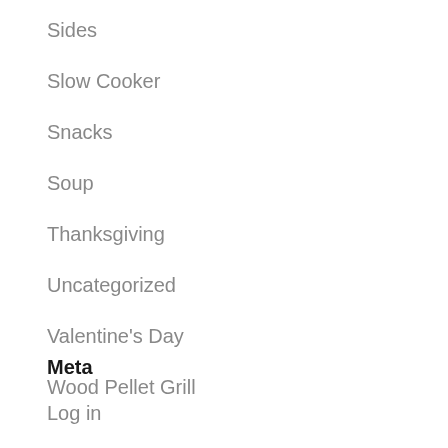Sides
Slow Cooker
Snacks
Soup
Thanksgiving
Uncategorized
Valentine's Day
Wood Pellet Grill
Meta
Log in
Entries feed